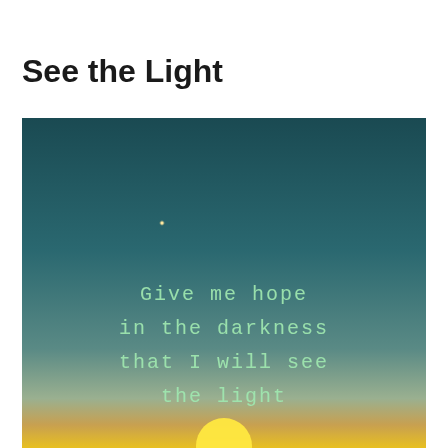See the Light
[Figure (photo): A sky gradient photo transitioning from dark teal at the top to warm golden-yellow at the bottom, with a small glowing dot (star or light) in the upper-left area. Overlaid text in green handwritten-style font reads: 'Give me hope in the darkness that I will see the light']